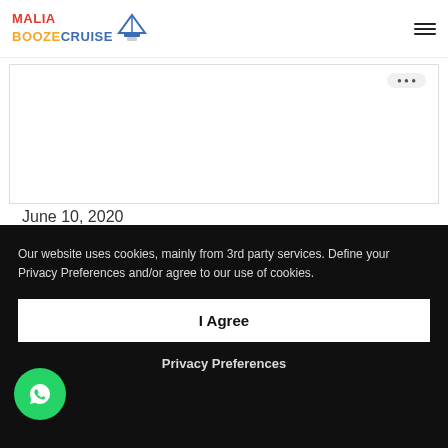[Figure (logo): Malia Booze Cruise logo with red MALIA text, orange BOOZE, blue CRUISE, and a cruise ship graphic]
June 10, 2020
Our website uses cookies, mainly from 3rd party services. Define your Privacy Preferences and/or agree to our use of cookies.
I Agree
Privacy Preferences